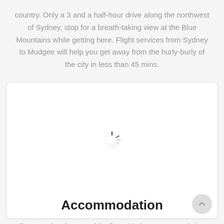country. Only a 3 and a half-hour drive along the northwest of Sydney, stop for a breath-taking view at the Blue Mountains while getting here. Flight services from Sydney to Mudgee will help you get away from the hurly-burly of the city in less than 45 mins.
[Figure (other): Loading spinner (animated circular spinner icon) inside a white card]
Accommodation
Rest your head at one of the finest Mudgee accommodation